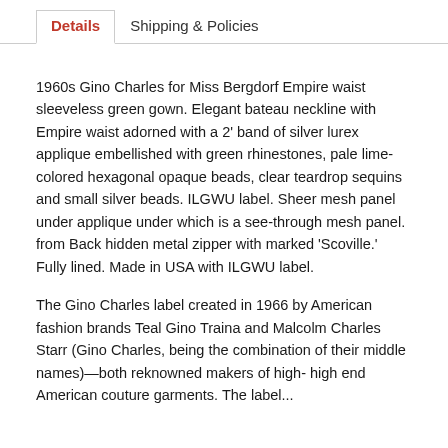Details | Shipping & Policies
1960s Gino Charles for Miss Bergdorf Empire waist sleeveless green gown. Elegant bateau neckline with Empire waist adorned with a 2' band of silver lurex applique embellished with green rhinestones, pale lime-colored hexagonal opaque beads, clear teardrop sequins and small silver beads. ILGWU label. Sheer mesh panel under applique under which is a see-through mesh panel. from Back hidden metal zipper with marked 'Scoville.' Fully lined. Made in USA with ILGWU label.
The Gino Charles label created in 1966 by American fashion brands Teal Gino Traina and Malcolm Charles Starr (Gino Charles, being the combination of their middle names)—both reknowned makers of high- high end American couture garments. The label...